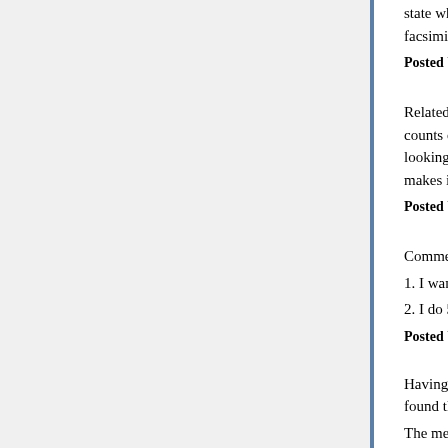state where I feel like I'm actually playing music a... facsimile of a song.
Posted by: nous | May 02, 2020 at 02:23 PM
Related to your gas-pumping exercise: at a traffic... counts down seconds for a fairly long interval, cou... looking. As you say, the slow cadence is hard. Ev... makes it noticeably easier.
Posted by: Michael Cain | May 02, 2020 at 04:01 PM
Comments on nous's link, which I had never hear...
1. I want a new keyboard.
2. I do 50 points better if I close my eyes. (Admitte...
Posted by: JanieM | May 02, 2020 at 07:54 PM
Having started piano lessons very late in life, with... found that getting rhythm correct was near imposs...
The metronome drove me near insane. I simply...